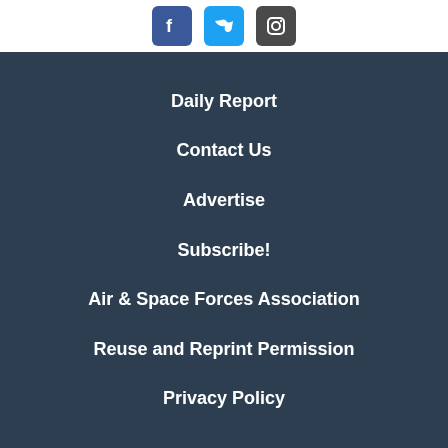[Figure (illustration): Social media icons: Facebook (blue square), Twitter (light blue square), Instagram (dark grey square)]
Daily Report
Contact Us
Advertise
Subscribe!
Air & Space Forces Association
Reuse and Reprint Permission
Privacy Policy